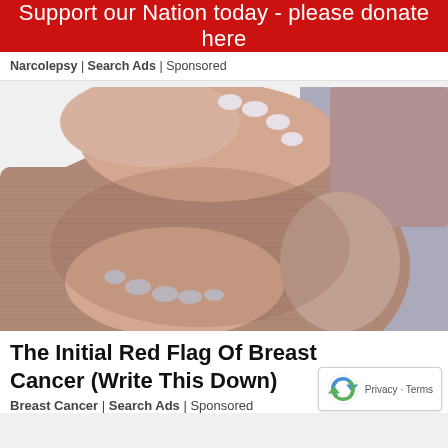Support our Nation today - please donate here
Narcolepsy | Search Ads | Sponsored
[Figure (photo): Close-up photo of a woman in a mauve ribbed top holding her chest with both hands, painted nails visible, suggesting a breast self-examination context.]
The Initial Red Flag Of Breast Cancer (Write This Down)
Breast Cancer | Search Ads | Sponsored